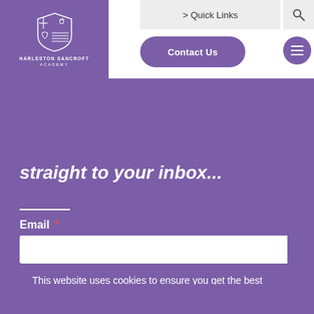[Figure (logo): Harleston Sancroft Academy shield logo with cross and animal emblems, white on purple background]
HARLESTON SANCROFT
ACADEMY
> Quick Links
Contact Us
straight to your inbox...
Email *
This website uses cookies to ensure you get the best experience on our website.
Learn more
Got it!
[Figure (photo): Partial view of two people at bottom of page]